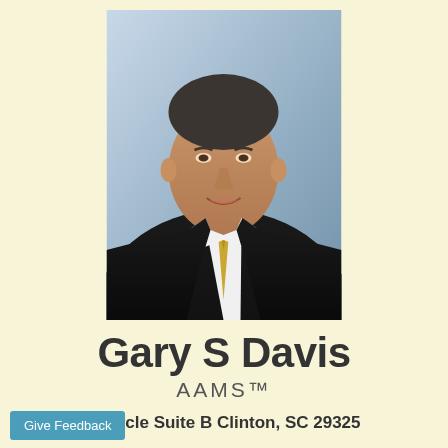[Figure (photo): Professional headshot of Gary S Davis, a middle-aged man in a dark suit with a gold/yellow patterned tie and white dress shirt, smiling, photographed against a gray/blue studio background.]
Gary S Davis
AAMS™
a Circle Suite B Clinton, SC 29325